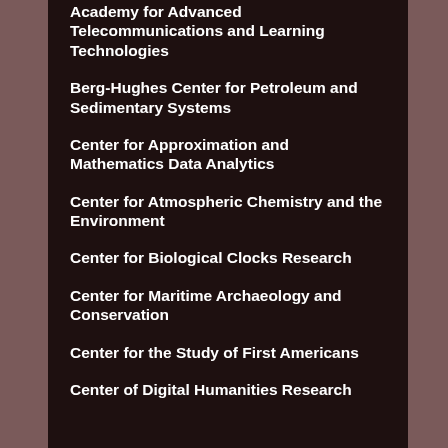Academy for Advanced Telecommunications and Learning Technologies
Berg-Hughes Center for Petroleum and Sedimentary Systems
Center for Approximation and Mathematics Data Analytics
Center for Atmospheric Chemistry and the Environment
Center for Biological Clocks Research
Center for Maritime Archaeology and Conservation
Center for the Study of First Americans
Center of Digital Humanities Research